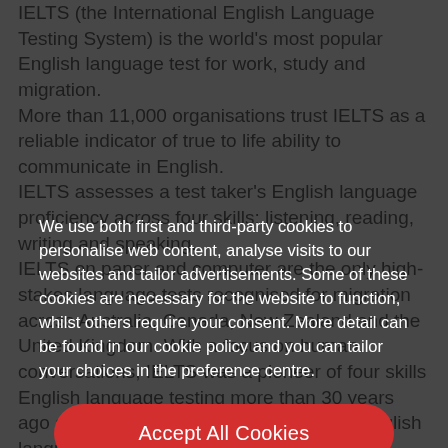IELTS (the International English Language Testing System) is the world's most popular English language test for work, study and migration. More than 11,000 organisations trust IELTS as a reliable indicator of true to life ability to communicate in English. IELTS assesses a test taker's English language proficiency across four skills: listening, reading, writing and speaking. IELTS on paper and computer are the only high-stakes language tests recognised for migration across Australia, Canada, New Zealand and the United Kingdom. With a focus on human conversations, IELTS was a pioneer of four skills English language testing more than 30 years ago and has helped set the standard for English language testing today.
We use both first and third-party cookies to personalise web content, analyse visits to our websites and tailor advertisements. Some of these cookies are necessary for the website to function, whilst others require your consent. More detail can be found in our cookie policy and you can tailor your choices in the preference centre.
Accept All Cookies
Cookies Settings